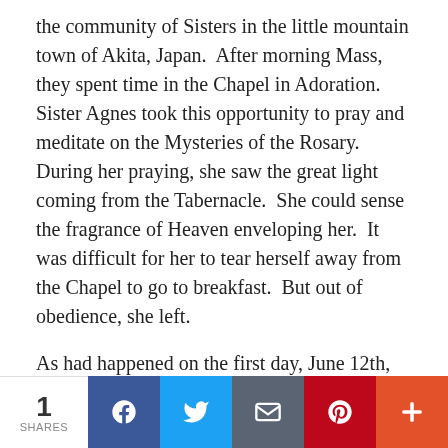the community of Sisters in the little mountain town of Akita, Japan.  After morning Mass, they spent time in the Chapel in Adoration.  Sister Agnes took this opportunity to pray and meditate on the Mysteries of the Rosary.  During her praying, she saw the great light coming from the Tabernacle.  She could sense the fragrance of Heaven enveloping her.  It was difficult for her to tear herself away from the Chapel to go to breakfast.  But out of obedience, she left.
As had happened on the first day, June 12th, so on this day, the Sisters left the convent in the hands of Sister Agnes.  She welcomed the opportunity to spend the time in the Chapel.  She began praying, when she could feel the magnificent presence of the Lady.  She was back, Sister Agnes thought to herself.  She caught her breath, as she heard the most beautiful voice of the Mother of God...
1 SHARES | Facebook | Twitter | Email | Pinterest | More